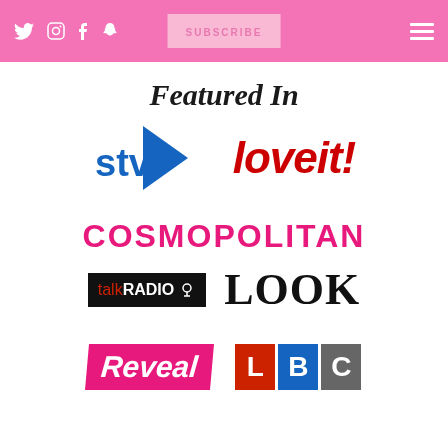Twitter, Instagram, Facebook, Snapchat social icons | SUBSCRIBE | Hamburger menu
Featured In
[Figure (logo): STV logo — blue play-button triangle with STV text]
[Figure (logo): loveit! magazine logo — bold red italic text]
[Figure (logo): Cosmopolitan magazine logo — hot pink bold uppercase text]
[Figure (logo): talkRADIO logo — black background with red 'talk' and white 'RADIO' text and microphone icon]
[Figure (logo): LOOK magazine logo — bold black serif text]
[Figure (logo): Reveal magazine logo — pink background with white italic bold text]
[Figure (logo): LBC logo — three colored blocks L(red), B(blue), C(grey) with white letters]